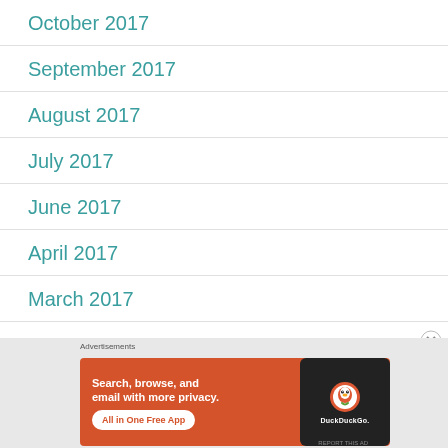October 2017
September 2017
August 2017
July 2017
June 2017
April 2017
March 2017
[Figure (screenshot): DuckDuckGo advertisement banner: orange background with text 'Search, browse, and email with more privacy. All in One Free App' and a phone showing DuckDuckGo logo]
Advertisements